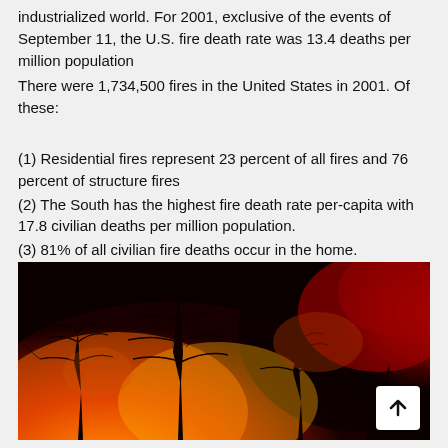industrialized world. For 2001, exclusive of the events of September 11, the U.S. fire death rate was 13.4 deaths per million population
There were 1,734,500 fires in the United States in 2001. Of these:
(1) Residential fires represent 23 percent of all fires and 76 percent of structure fires
(2) The South has the highest fire death rate per-capita with 17.8 civilian deaths per million population.
(3) 81% of all civilian fire deaths occur in the home.
[Figure (photo): Night photograph of trees silhouetted against intense orange-red fire and smoke, depicting a wildfire scene.]